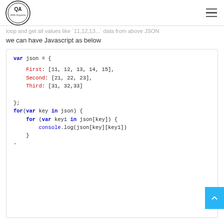QA With Experts
loop and get all values like `11,12,13...` data from above JSON
we can have Javascript as below
[Figure (screenshot): Code block showing JavaScript JSON object with nested arrays and for-in loops to iterate and log all values]